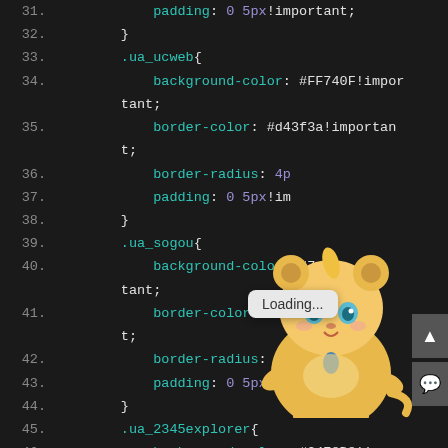[Figure (screenshot): Code editor screenshot showing CSS code with line numbers 31-47, a 'Loading...' tooltip overlay, an anime character illustration in the bottom-right corner, and scroll/comment buttons on the far right edge.]